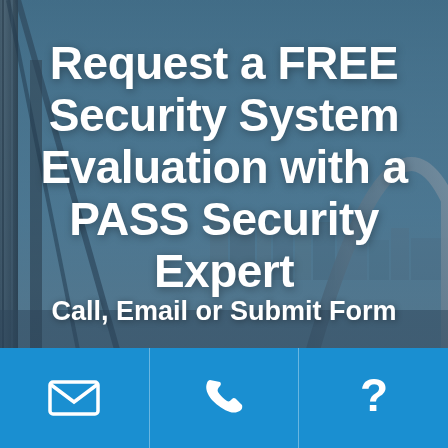[Figure (photo): Background photo of urban skyline with an arch monument and steel cables, tinted with a dark blue overlay]
Request a FREE Security System Evaluation with a PASS Security Expert
Call, Email or Submit Form